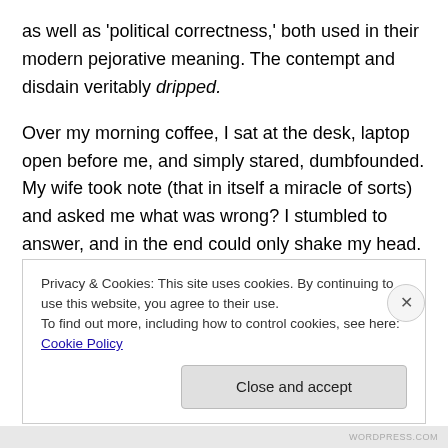as well as 'political correctness,' both used in their modern pejorative meaning.  The contempt and disdain veritably dripped.
Over my morning coffee, I sat at the desk, laptop open before me, and simply stared, dumbfounded.  My wife took note (that in itself a miracle of sorts) and asked me what was wrong?  I stumbled to answer, and in the end could only shake my head.  It's now a few days later, and Steve Jones has since added to the topic with a poem, further indicating his objection to the WFA's decision, and yet
Privacy & Cookies: This site uses cookies. By continuing to use this website, you agree to their use.
To find out more, including how to control cookies, see here: Cookie Policy